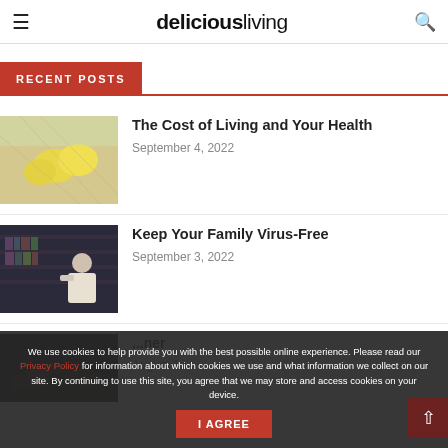deliciousliving
RECENT POSTS
[Figure (photo): Yellow lemons in a white mesh bag on a light surface]
The Cost of Living and Your Health
September 4, 2022
[Figure (photo): Person sitting in a dimly lit library setting]
Keep Your Family Virus-Free
September 3, 2022
[Figure (photo): Plate with dark food items, partially visible]
August 1...ner
We use cookies to help provide you with the best possible online experience. Please read our Privacy Policy for information about which cookies we use and what information we collect on our site. By continuing to use this site, you agree that we may store and access cookies on your device.
I AGREE